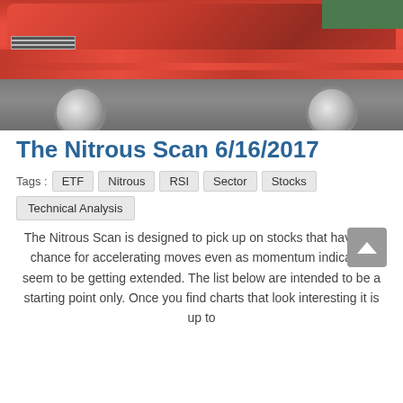[Figure (photo): A red vintage Cadillac car photographed from a front-side angle in a parking lot with greenery in background]
The Nitrous Scan 6/16/2017
Tags :  ETF  Nitrous  RSI  Sector  Stocks
Technical Analysis
The Nitrous Scan is designed to pick up on stocks that have the chance for accelerating moves even as momentum indicators seem to be getting extended. The list below are intended to be a starting point only. Once you find charts that look interesting it is up to